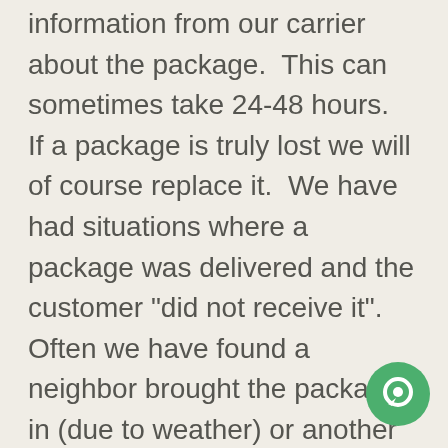information from our carrier about the package.  This can sometimes take 24-48 hours.  If a package is truly lost we will of course replace it.  We have had situations where a package was delivered and the customer "did not receive it".  Often we have found a neighbor brought the package in (due to weather) or another family member.  Sometimes checking with those around you first can help too.  We are always here to help and our email is : info@olddogcookie.com Having your order number is helpful.
[Figure (other): Green circular chat button icon in the bottom right corner]